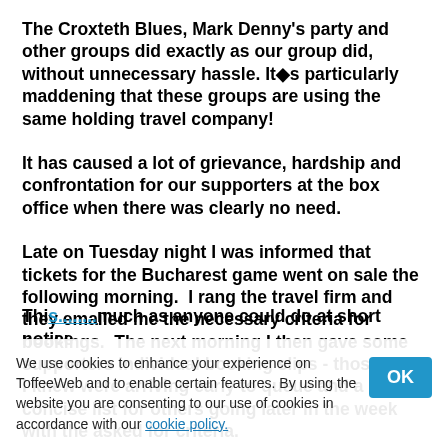The Croxteth Blues, Mark Denny's party and other groups did exactly as our group did, without unnecessary hassle. It▦s particularly maddening that these groups are using the same holding travel company!
It has caused a lot of grievance, hardship and confrontation for our supporters at the box office when there was clearly no need.
Late on Tuesday night I was informed that tickets for the Bucharest game went on sale the following morning.  I rang the travel firm and they emailed me the necessary criteria for bookings.  The next morning I then gave some supporters individual booking slips - those who I knew were arriving early to queue and a concise list for others going later in the week with the asked for criteria.
This...much as anyone could do at short notice
We use cookies to enhance your experience on ToffeeWeb and to enable certain features. By using the website you are consenting to our use of cookies in accordance with our cookie policy.